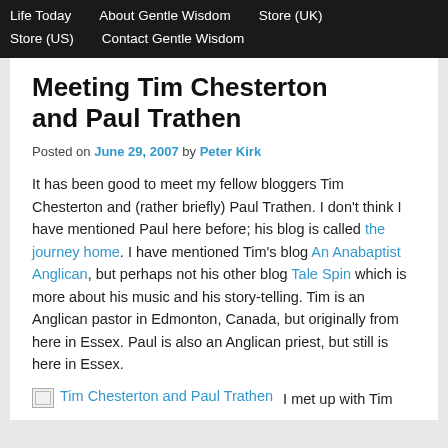Life Today   About Gentle Wisdom   Store (UK)   Store (US)   Contact Gentle Wisdom
Meeting Tim Chesterton and Paul Trathen
Posted on June 29, 2007 by Peter Kirk
It has been good to meet my fellow bloggers Tim Chesterton and (rather briefly) Paul Trathen. I don't think I have mentioned Paul here before; his blog is called the journey home. I have mentioned Tim's blog An Anabaptist Anglican, but perhaps not his other blog Tale Spin which is more about his music and his story-telling. Tim is an Anglican pastor in Edmonton, Canada, but originally from here in Essex. Paul is also an Anglican priest, but still is here in Essex.
[Tim Chesterton and Paul Trathen] I met up with Tim